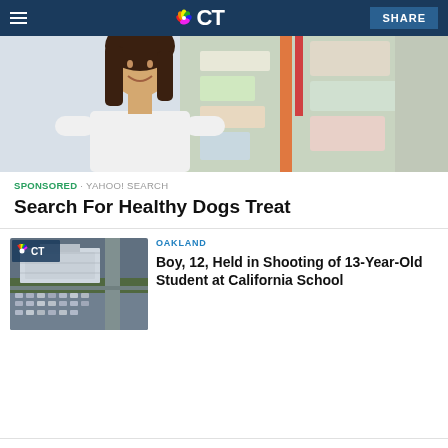NBC CT — SHARE
[Figure (photo): Woman smiling in a store, looking at products on shelves]
SPONSORED · YAHOO! SEARCH
Search For Healthy Dogs Treat
[Figure (photo): Aerial view of a school campus with parking lot, NBC CT logo overlay]
OAKLAND
Boy, 12, Held in Shooting of 13-Year-Old Student at California School